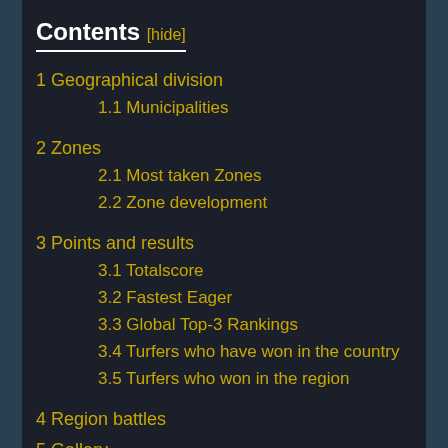Contents [hide]
1 Geographical division
1.1 Municipalities
2 Zones
2.1 Most taken Zones
2.2 Zone development
3 Points and results
3.1 Totalscore
3.2 Fastest Eager
3.3 Global Top-3 Rankings
3.4 Turfers who have won in the country
3.5 Turfers who won in the region
4 Region battles
5 Gallery
6 External Links